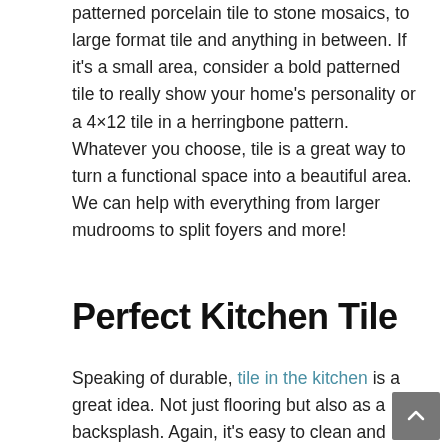patterned porcelain tile to stone mosaics, to large format tile and anything in between. If it's a small area, consider a bold patterned tile to really show your home's personality or a 4×12 tile in a herringbone pattern. Whatever you choose, tile is a great way to turn a functional space into a beautiful area. We can help with everything from larger mudrooms to split foyers and more!
Perfect Kitchen Tile
Speaking of durable, tile in the kitchen is a great idea. Not just flooring but also as a backsplash. Again, it's easy to clean and